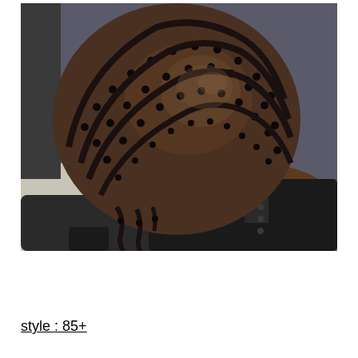[Figure (photo): Close-up photograph of a person's head showing intricate cornrow/box braids hairstyle in a pumpkin or halo pattern, viewed from above. The person is seated in a black office chair, wearing a dark jacket. The braids are dark black/brown and tightly woven in curved rows across the scalp.]
style : 85+